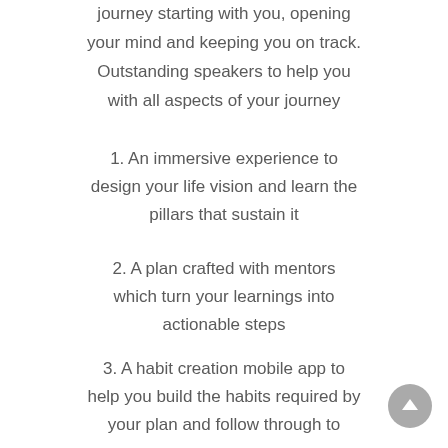journey starting with you, opening your mind and keeping you on track. Outstanding speakers to help you with all aspects of your journey
1. An immersive experience to design your life vision and learn the pillars that sustain it
2. A plan crafted with mentors which turn your learnings into actionable steps
3. A habit creation mobile app to help you build the habits required by your plan and follow through to